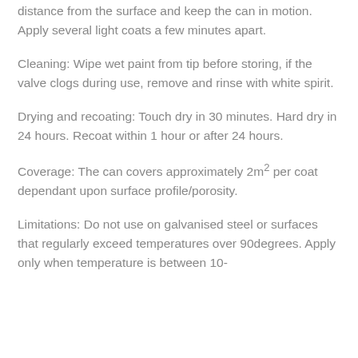distance from the surface and keep the can in motion. Apply several light coats a few minutes apart.
Cleaning: Wipe wet paint from tip before storing, if the valve clogs during use, remove and rinse with white spirit.
Drying and recoating: Touch dry in 30 minutes. Hard dry in 24 hours. Recoat within 1 hour or after 24 hours.
Coverage: The can covers approximately 2m² per coat dependant upon surface profile/porosity.
Limitations: Do not use on galvanised steel or surfaces that regularly exceed temperatures over 90degrees. Apply only when temperature is between 10-